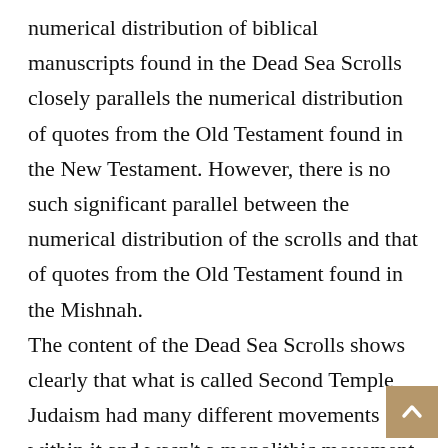numerical distribution of biblical manuscripts found in the Dead Sea Scrolls closely parallels the numerical distribution of quotes from the Old Testament found in the New Testament. However, there is no such significant parallel between the numerical distribution of the scrolls and that of quotes from the Old Testament found in the Mishnah. The content of the Dead Sea Scrolls shows clearly that what is called Second Temple Judaism had many different movements within it and wasn't a monolithic movement, just as we see in today's Judaism. Though the New Testament does not mention the Essenes specifically, it mentions different